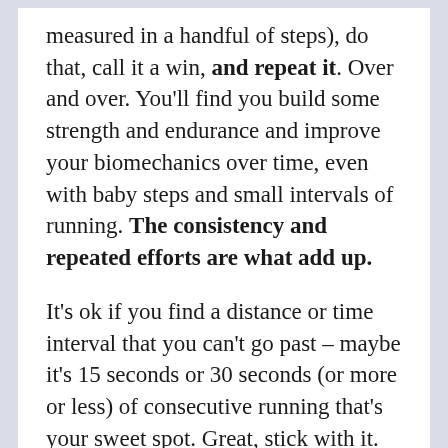measured in a handful of steps), do that, call it a win, and repeat it. Over and over. You'll find you build some strength and endurance and improve your biomechanics over time, even with baby steps and small intervals of running. The consistency and repeated efforts are what add up.
It's ok if you find a distance or time interval that you can't go past – maybe it's 15 seconds or 30 seconds (or more or less) of consecutive running that's your sweet spot. Great, stick with it. Run that